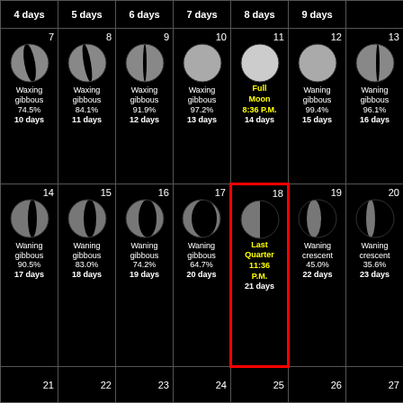| 4 days | 5 days | 6 days | 7 days | 8 days | 9 days |
| --- | --- | --- | --- | --- | --- |
| 7 Waxing gibbous 74.5% 10 days | 8 Waxing gibbous 84.1% 11 days | 9 Waxing gibbous 91.9% 12 days | 10 Waxing gibbous 97.2% 13 days | 11 Full Moon 8:36 P.M. 14 days | 12 Waning gibbous 99.4% 15 days | 13 Waning gibbous 96.1% 16 days |
| 14 Waning gibbous 90.5% 17 days | 15 Waning gibbous 83.0% 18 days | 16 Waning gibbous 74.2% 19 days | 17 Waning gibbous 64.7% 20 days | 18 Last Quarter 11:36 P.M. 21 days | 19 Waning crescent 45.0% 22 days | 20 Waning crescent 35.6% 23 days |
| 21 | 22 | 23 | 24 | 25 | 26 | 27 |